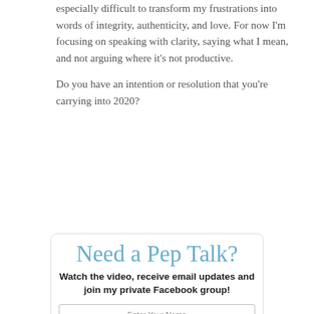especially difficult to transform my frustrations into words of integrity, authenticity, and love.  For now I'm focusing on speaking with clarity, saying what I mean, and not arguing where it's not productive.
Do you have an intention or resolution that you're carrying into 2020?
[Figure (other): Sign-up box with cursive heading 'Need a Pep Talk?', subheading 'Watch the video, receive email updates and join my private Facebook group!', two input fields for name and email, a SIGN UP button, a checkbox for agreeing to transfer personal information to MailChimp, and a note about never giving away email address.]